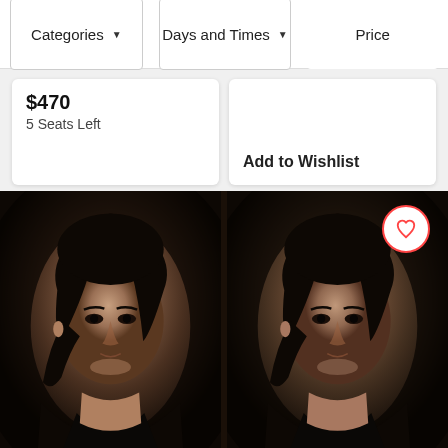Categories ▼
Days and Times ▼
Price
$470
5 Seats Left
Add to Wishlist
[Figure (photo): Two side-by-side sepia/black-and-white portrait photographs of the same woman with dark curly hair wearing a dark v-neck top, looking slightly off-camera. The right copy has a red heart/wishlist icon overlaid in the upper right corner.]